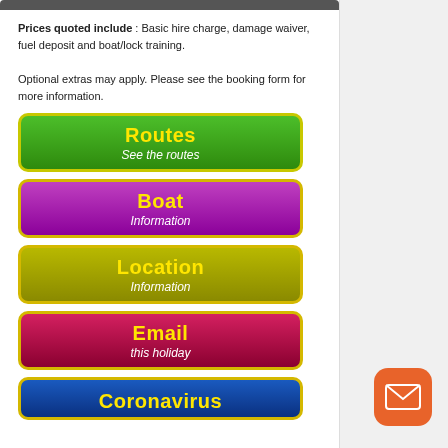Prices quoted include : Basic hire charge, damage waiver, fuel deposit and boat/lock training. Optional extras may apply. Please see the booking form for more information.
[Figure (other): Green rounded button labeled 'Routes' with subtitle 'See the routes']
[Figure (other): Purple rounded button labeled 'Boat' with subtitle 'Information']
[Figure (other): Olive/yellow-green rounded button labeled 'Location' with subtitle 'Information']
[Figure (other): Red/crimson rounded button labeled 'Email' with subtitle 'this holiday']
[Figure (other): Blue rounded button labeled 'Coronavirus' (partially visible at bottom)]
[Figure (other): Orange rounded square mail/envelope icon button in bottom right corner]